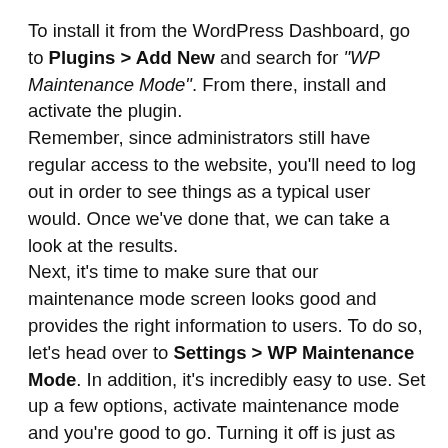To install it from the WordPress Dashboard, go to Plugins > Add New and search for "WP Maintenance Mode". From there, install and activate the plugin.
Remember, since administrators still have regular access to the website, you'll need to log out in order to see things as a typical user would. Once we've done that, we can take a look at the results.
Next, it's time to make sure that our maintenance mode screen looks good and provides the right information to users. To do so, let's head over to Settings > WP Maintenance Mode. In addition, it's incredibly easy to use. Set up a few options, activate maintenance mode and you're good to go. Turning it off is just as quick.
Changing a page or post within WordPress is a simple process. You can add, edit or delete content as needed. But there are cases when you need to do more – and it could have a negative impact on your site's visitors.